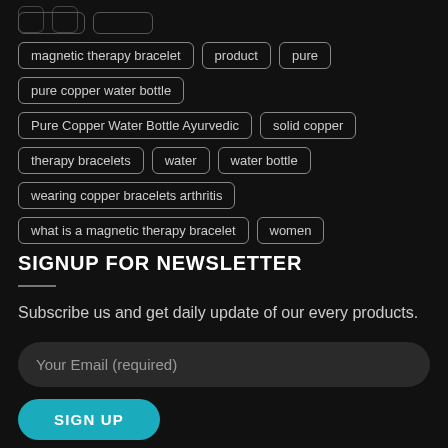magnetic therapy bracelet
product
pure
pure copper water bottle
Pure Copper Water Bottle Ayurvedic
solid copper
therapy bracelets
water
water bottle
wearing copper bracelets arthritis
what is a magnetic therapy bracelet
women
SIGNUP FOR NEWSLETTER
Subscribe us and get daily update of our every products.
Your Email (required)
SIGN UP